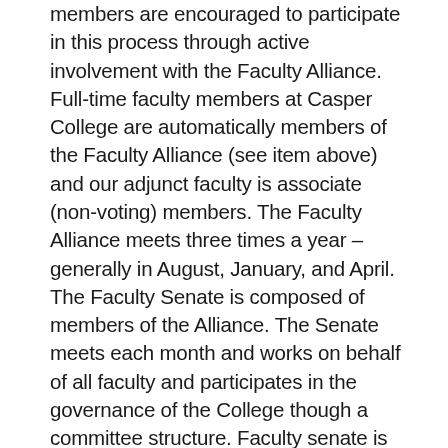members are encouraged to participate in this process through active involvement with the Faculty Alliance. Full-time faculty members at Casper College are automatically members of the Faculty Alliance (see item above) and our adjunct faculty is associate (non-voting) members. The Faculty Alliance meets three times a year – generally in August, January, and April. The Faculty Senate is composed of members of the Alliance. The Senate meets each month and works on behalf of all faculty and participates in the governance of the College though a committee structure. Faculty senate is composed of 17 members: three members elected from each academic school and one from Continuing Education and Educational Resources. Senators are